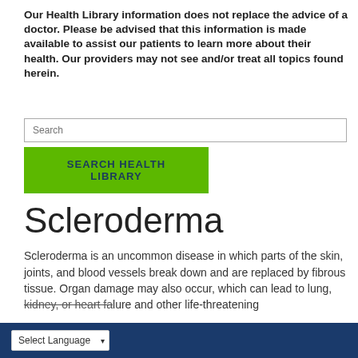Our Health Library information does not replace the advice of a doctor. Please be advised that this information is made available to assist our patients to learn more about their health. Our providers may not see and/or treat all topics found herein.
[Figure (screenshot): Search input box with placeholder text 'Search' and a green button labeled 'SEARCH HEALTH LIBRARY']
Scleroderma
Scleroderma is an uncommon disease in which parts of the skin, joints, and blood vessels break down and are replaced by fibrous tissue. Organ damage may also occur, which can lead to lung, kidney, or heart failure and other life-threatening
Select Language